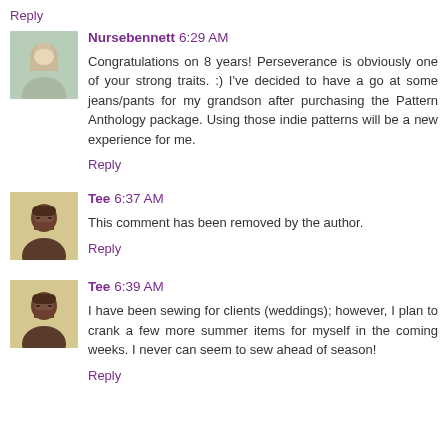Reply
Nursebennett 6:29 AM
Congratulations on 8 years! Perseverance is obviously one of your strong traits. :) I've decided to have a go at some jeans/pants for my grandson after purchasing the Pattern Anthology package. Using those indie patterns will be a new experience for me.
Reply
Tee 6:37 AM
This comment has been removed by the author.
Reply
Tee 6:39 AM
I have been sewing for clients (weddings); however, I plan to crank a few more summer items for myself in the coming weeks. I never can seem to sew ahead of season!
Reply